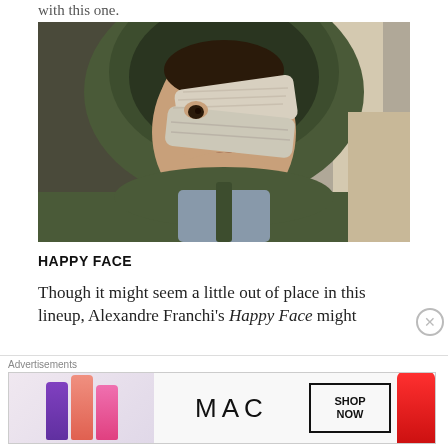with this one.
[Figure (photo): A young person wearing a green hooded jacket with white bandages wrapped around their face/nose area, mouth slightly open, looking at camera.]
HAPPY FACE
Though it might seem a little out of place in this lineup, Alexandre Franchi's Happy Face might
[Figure (infographic): Advertisement banner for MAC cosmetics showing lipsticks in purple, pink, hot pink and red colors with MAC logo and SHOP NOW button.]